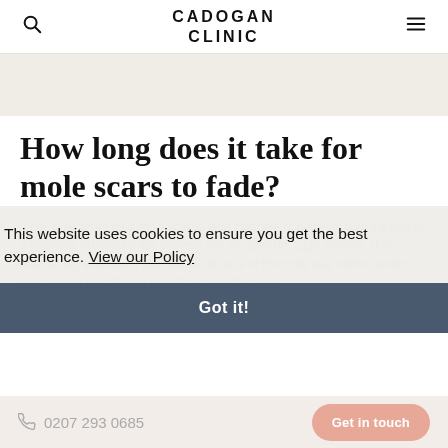CADOGAN CLINIC
How long does it take for mole scars to fade?
It can take years for a mole scar to fade completely, however with the use of a cosmetic procedure this process can be sped up. Light therapy, skin resurfacing and lasers can reduce the size of the mole scar within months and provide long lasting results for all individuals.
At the Cadogan Clinic we are able to help individuals recover
This website uses cookies to ensure you get the best experience. View our Policy
Got it!
0207 293 0685  Get in touch